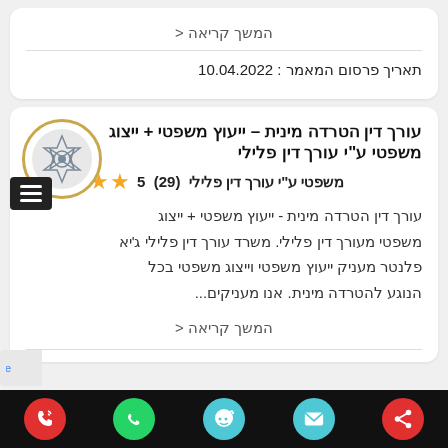המשך קריאה <
תאריך פרסום המאמר : 10.04.2022
עורך דין הטרדה מינית – ייעוץ משפטי + ייצוג משפטי ע"י עורך דין פלילי (29) 5
עורך דין הטרדה מינית - ייעוץ משפטי + ייצוג משפטי מעורך דין פלילי. משרד עורך דין פלילי ג'יא פלנטר מעניק ייעוץ משפטי וייצוג משפטי בכל הנוגע להטרדה מינית. אנו מעניקים...
המשך קריאה <